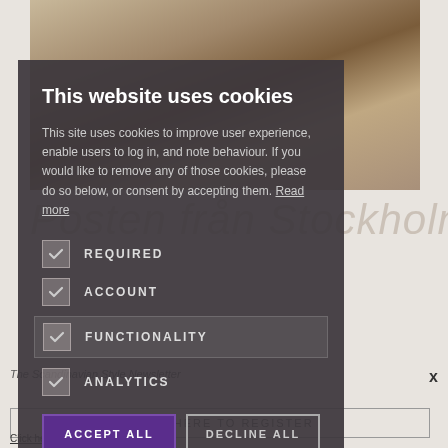[Figure (photo): Background photo of a person's legs/feet with brown leather shoes, sitting on a chair, partially obscured by the cookie consent modal overlay. Text 'Posten från Stockholm' visible in background.]
This website uses cookies
This site uses cookies to improve user experience, enable users to log in, and note behaviour. If you would like to remove any of those cookies, please do so below, or consent by accepting them. Read more
REQUIRED
ACCOUNT
FUNCTIONALITY
ANALYTICS
ACCEPT ALL
DECLINE ALL
Click here to read our Privacy Policy